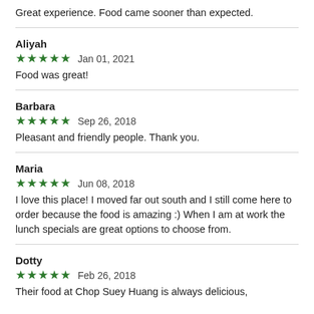Great experience. Food came sooner than expected.
Aliyah
★★★★★  Jan 01, 2021
Food was great!
Barbara
★★★★★  Sep 26, 2018
Pleasant and friendly people. Thank you.
Maria
★★★★★  Jun 08, 2018
I love this place! I moved far out south and I still come here to order because the food is amazing :) When I am at work the lunch specials are great options to choose from.
Dotty
★★★★★  Feb 26, 2018
Their food at Chop Suey Huang is always delicious,